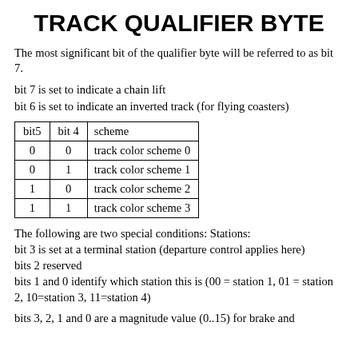TRACK QUALIFIER BYTE
The most significant bit of the qualifier byte will be referred to as bit 7.
bit 7 is set to indicate a chain lift
bit 6 is set to indicate an inverted track (for flying coasters)
| bit5 | bit 4 | scheme |
| --- | --- | --- |
| 0 | 0 | track color scheme 0 |
| 0 | 1 | track color scheme 1 |
| 1 | 0 | track color scheme 2 |
| 1 | 1 | track color scheme 3 |
The following are two special conditions: Stations:
bit 3 is set at a terminal station (departure control applies here)
bits 2 reserved
bits 1 and 0 identify which station this is (00 = station 1, 01 = station 2, 10=station 3, 11=station 4)
bits 3, 2, 1 and 0 are a magnitude value (0..15) for brake and